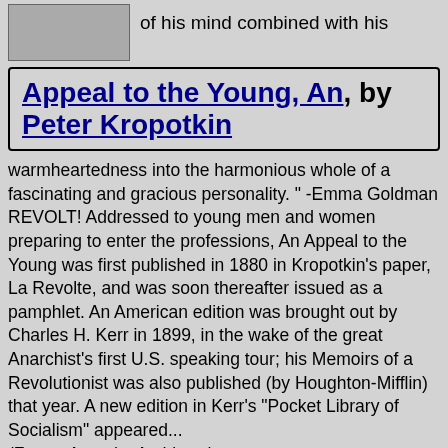of his mind combined with his
Appeal to the Young, An, by Peter Kropotkin
warmheartedness into the harmonious whole of a fascinating and gracious personality. " -Emma Goldman REVOLT! Addressed to young men and women preparing to enter the professions, An Appeal to the Young was first published in 1880 in Kropotkin's paper, La Revolte, and was soon thereafter issued as a pamphlet. An American edition was brought out by Charles H. Kerr in 1899, in the wake of the great Anarchist's first U.S. speaking tour; his Memoirs of a Revolutionist was also published (by Houghton-Mifflin) that year. A new edition in Kerr's "Pocket Library of Socialism" appeared... (From : Anarchy Archives.)
dream (31)
sleepless nights (1)
natural (104)
hard times (1)
injustice (52)
master (78)